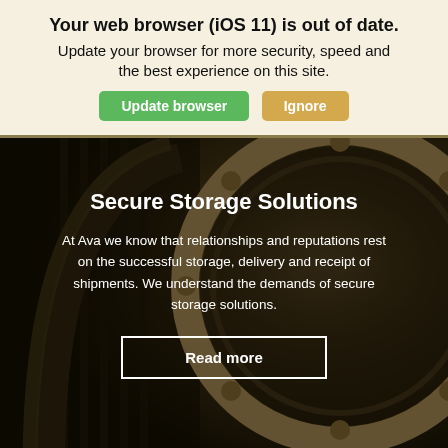Your web browser (iOS 11) is out of date.
Update your browser for more security, speed and the best experience on this site.
Update browser   Ignore
[Figure (photo): Bank vault door and security gate in the background, dark brownish-gold toned photo]
Secure Storage Solutions
At Ava we know that relationships and reputations rest on the successful storage, delivery and receipt of shipments. We understand the demands of secure storage solutions.
Read more